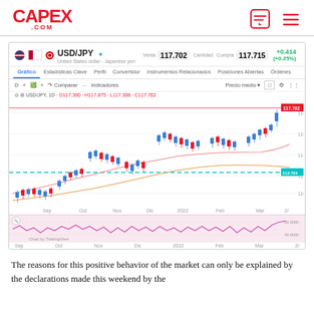CAPEX .COM
[Figure (screenshot): USD/JPY candlestick chart showing price action from September 2021 to March 2022 on a 1D timeframe. Price rises from around 110 to 117.70. Features a dashed teal horizontal line at 112.704, moving average curves, and an oscillator below. OHLC: O117.360 H117.875 L117.308 C117.702. Venta: 117.702, Compra: 117.715, change +0.414 (+0.25%)]
The reasons for this positive behavior of the market can only be explained by the declarations made this weekend by the